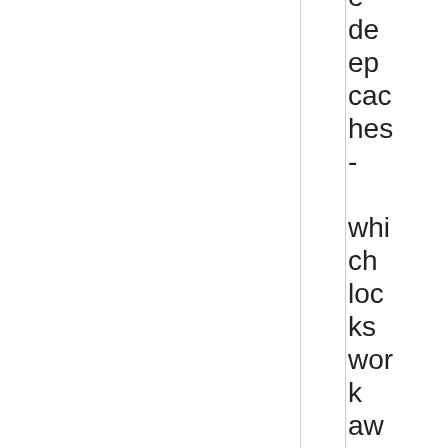e deep caches - which locks work away for days tha